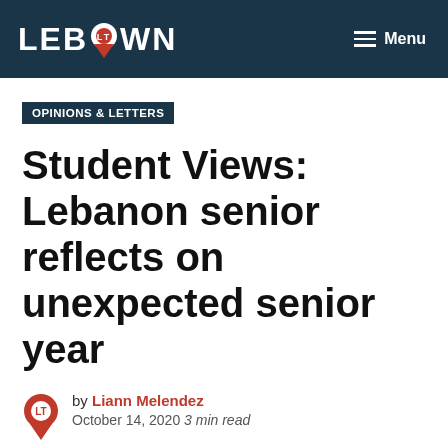LEBTOWN Menu
OPINIONS & LETTERS
Student Views: Lebanon senior reflects on unexpected senior year
by Liann Melendez
October 14, 2020 3 min read